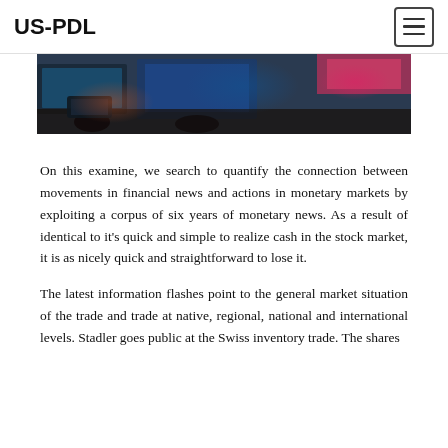US-PDL
[Figure (photo): A stock trading floor or financial market scene with screens, colorful displays including blue and pink hues, and people working at terminals.]
On this examine, we search to quantify the connection between movements in financial news and actions in monetary markets by exploiting a corpus of six years of monetary news. As a result of identical to it’s quick and simple to realize cash in the stock market, it is as nicely quick and straightforward to lose it.
The latest information flashes point to the general market situation of the trade and trade at native, regional, national and international levels. Stadler goes public at the Swiss inventory trade. The shares